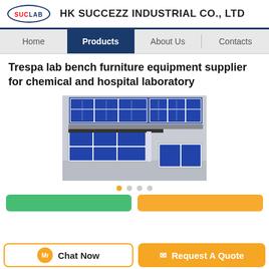HK SUCCEZZ INDUSTRIAL CO., LTD
Home | Products | About Us | Contacts
Trespa lab bench furniture equipment supplier for chemical and hospital laboratory
[Figure (photo): Photo of laboratory bench furniture with blue and white cabinets along a wall, including upper wall-mounted cabinets with glass doors and lower base cabinets with blue drawer fronts, showing a long lab bench setup.]
Chat Now | Request A Quote